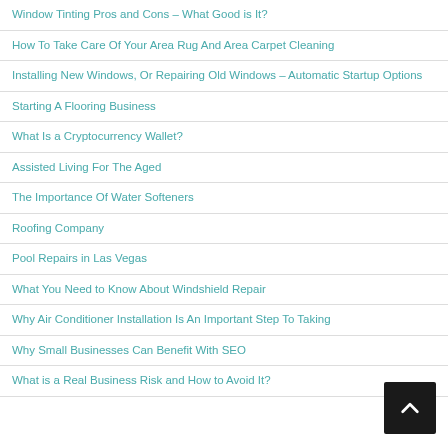Window Tinting Pros and Cons – What Good is It?
How To Take Care Of Your Area Rug And Area Carpet Cleaning
Installing New Windows, Or Repairing Old Windows – Automatic Startup Options
Starting A Flooring Business
What Is a Cryptocurrency Wallet?
Assisted Living For The Aged
The Importance Of Water Softeners
Roofing Company
Pool Repairs in Las Vegas
What You Need to Know About Windshield Repair
Why Air Conditioner Installation Is An Important Step To Taking
Why Small Businesses Can Benefit With SEO
What is a Real Business Risk and How to Avoid It?